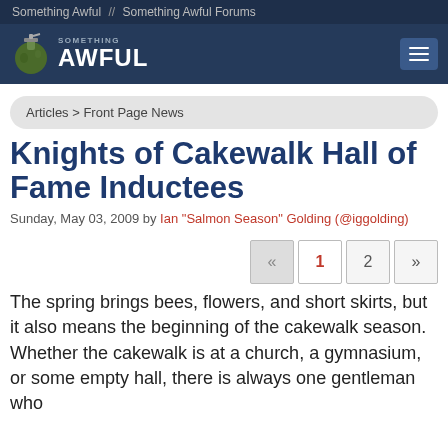Something Awful // Something Awful Forums
[Figure (logo): Something Awful logo with grenade icon and white text on dark blue background]
Articles > Front Page News
Knights of Cakewalk Hall of Fame Inductees
Sunday, May 03, 2009 by Ian "Salmon Season" Golding (@iggolding)
Pagination: « 1 2 »
The spring brings bees, flowers, and short skirts, but it also means the beginning of the cakewalk season. Whether the cakewalk is at a church, a gymnasium, or some empty hall, there is always one gentleman who ...